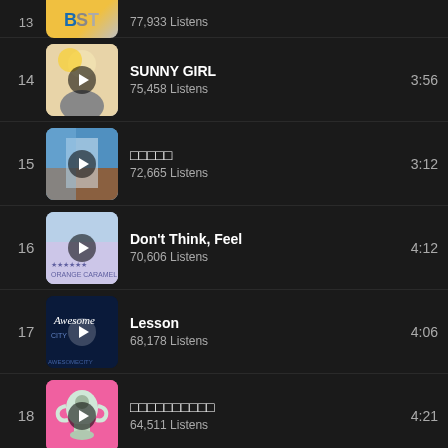13. BST – 77,933 Listens – 3:56 (partial)
14. SUNNY GIRL – 75,458 Listens – 3:56
15. □□□□□ – 72,665 Listens – 3:12
16. Don't Think, Feel – 70,606 Listens – 4:12
17. Lesson – 68,178 Listens – 4:06
18. □□□□□□□□□□ – 64,511 Listens – 4:21
19. (partial)